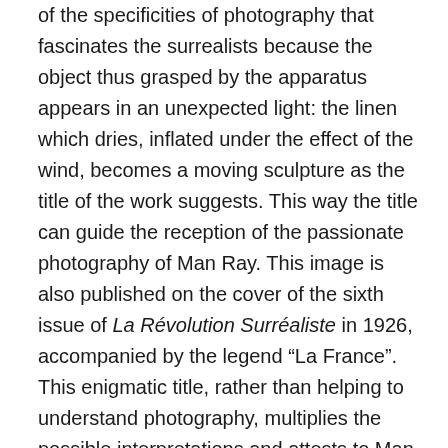of the specificities of photography that fascinates the surrealists because the object thus grasped by the apparatus appears in an unexpected light: the linen which dries, inflated under the effect of the wind, becomes a moving sculpture as the title of the work suggests. This way the title can guide the reception of the passionate photography of Man Ray. This image is also published on the cover of the sixth issue of La Révolution Surréaliste in 1926, accompanied by the legend “La France”. This enigmatic title, rather than helping to understand photography, multiplies the possible interpretations and attests to Man Ray's desire to subvert the use and meaning of the images. Thus this wind which “transforms” linen into sculpture, appears as a metaphor for the surrealist project, which makes the photographic medium the operator of a true conversion of the gaze. By this